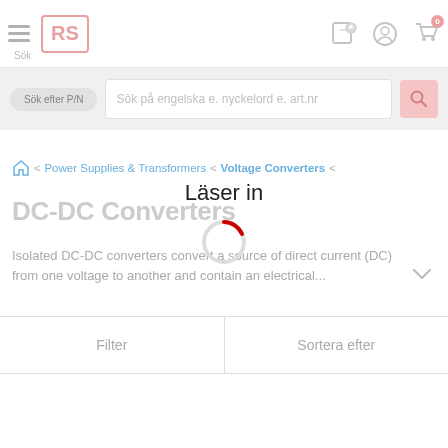[Figure (screenshot): RS Components website header with hamburger menu, RS logo, location pin icon, user account icon, and shopping cart icon with badge '0'. Below is a search bar with 'Sök efter P/N' toggle button and placeholder text 'Sök på engelska e. nyckelord e. art.nr' with a pink search icon.]
Sök
Sök efter P/N
Sök på engelska e. nyckelord e. art.nr
Power Supplies & Transformers
Voltage Converters
DC-DC Converters
Isolated DC-DC converters convert a source of direct current (DC) from one voltage to another and contain an electrical...
[Figure (infographic): Loading spinner: a circle with a red arc segment at top, indicating a loading/reading state. Text 'Läser in' displayed above.]
Filter
Sortera efter